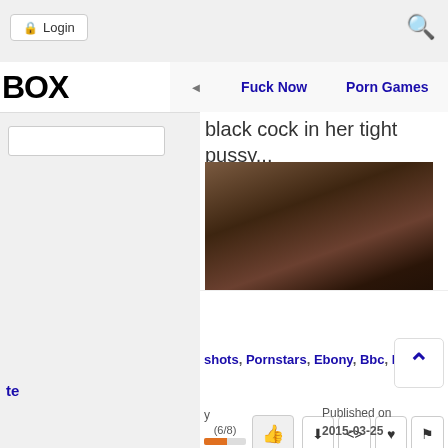Login | Fuck Now | Porn Games
black cock in her tight pussy...
[Figure (photo): Thumbnail screenshot of adult video content]
Advertisement
(6/8)
shots, Pornstars, Ebony, Bbc, Hardcore
Published on 2015-03-25